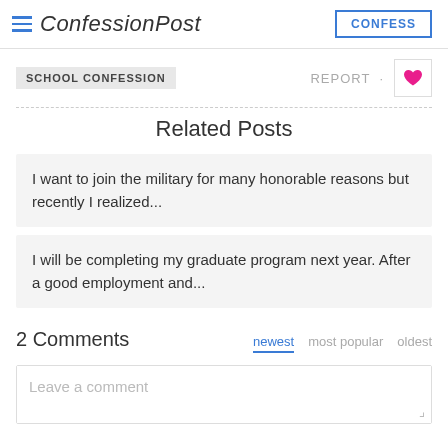ConfessionPost
SCHOOL CONFESSION
REPORT
Related Posts
I want to join the military for many honorable reasons but recently I realized...
I will be completing my graduate program next year. After a good employment and...
2 Comments
newest  most popular  oldest
Leave a comment